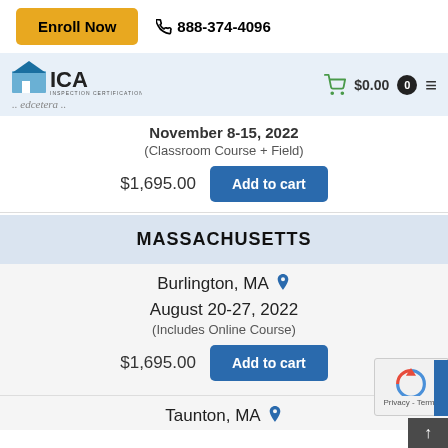[Figure (screenshot): Enroll Now button (gold/yellow) and phone number 888-374-4096 in top bar]
[Figure (logo): ICA - Inspection Certification Associates logo with edcetera text below, navigation bar with cart showing $0.00 and hamburger menu]
November 8-15, 2022
(Classroom Course + Field)
$1,695.00
MASSACHUSETTS
Burlington, MA
August 20-27, 2022
(Includes Online Course)
$1,695.00
Taunton, MA